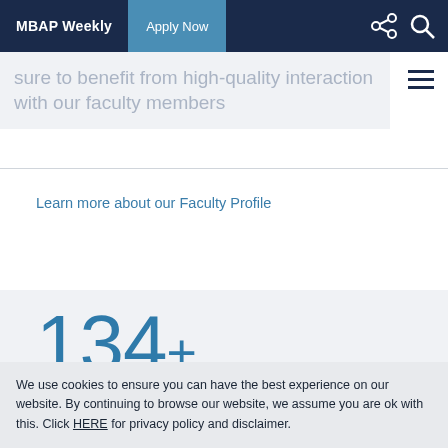MBAP Weekly | Apply Now
sure to benefit from high-quality interaction with our faculty members
Learn more about our Faculty Profile
134+
Faculty Members
We use cookies to ensure you can have the best experience on our website. By continuing to browse our website, we assume you are ok with this. Click HERE for privacy policy and disclaimer.